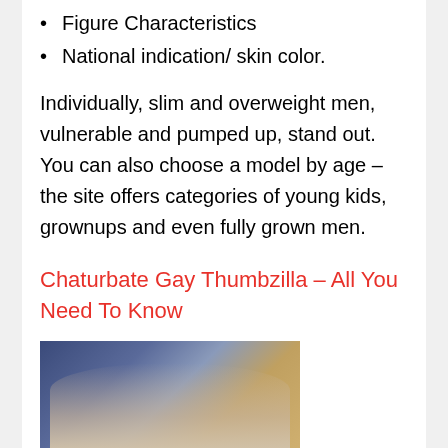Figure Characteristics
National indication/ skin color.
Individually, slim and overweight men, vulnerable and pumped up, stand out. You can also choose a model by age – the site offers categories of young kids, grownups and even fully grown men.
Chaturbate Gay Thumbzilla – All You Need To Know
[Figure (photo): Photo of two people on a couch with a decorative background]